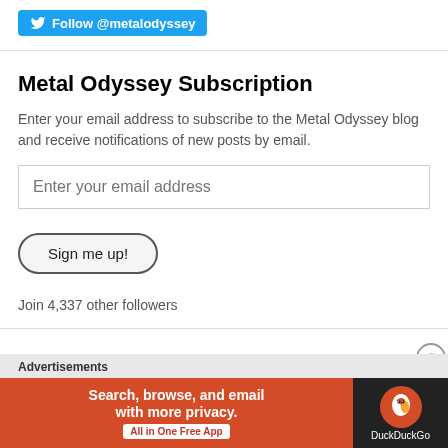[Figure (logo): Twitter Follow @metalodyssey button in blue with bird icon]
Metal Odyssey Subscription
Enter your email address to subscribe to the Metal Odyssey blog and receive notifications of new posts by email.
Enter your email address
Sign me up!
Join 4,337 other followers
[Figure (infographic): DuckDuckGo advertisement banner: Search, browse, and email with more privacy. All in One Free App. DuckDuckGo logo on dark background.]